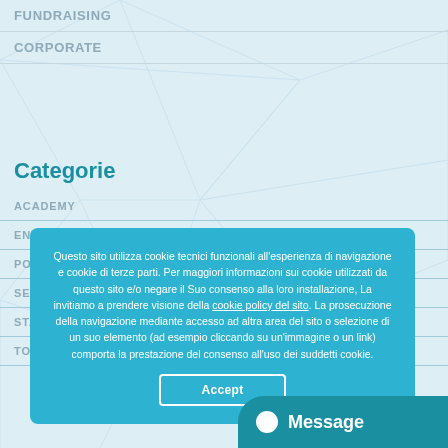FUNDRAISING
CORPORATE
Categorie
ACADEMY
ENTREPRENEURSHIP
PORTFOLIO
SENZA CATEGORIA
STARTUP
TOOLS
Questo sito utilizza cookie tecnici funzionali all'esperienza di navigazione e cookie di terze parti. Per maggiori informazioni sui cookie utilizzati da questo sito e/o negare il Suo consenso alla loro installazione, La invitiamo a prendere visione della cookie policy del sito. La prosecuzione della navigazione mediante accesso ad altra area del sito o selezione di un suo elemento (ad esempio cliccando su un'immagine o un link) comporta la prestazione del consenso all'uso dei suddetti cookie.
Accept
Message